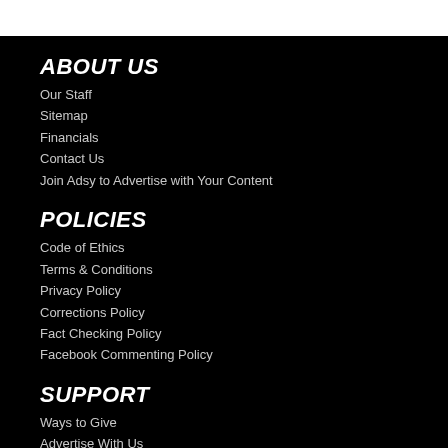ABOUT US
Our Staff
Sitemap
Financials
Contact Us
Join Adsy to Advertise with Your Content
POLICIES
Code of Ethics
Terms & Conditions
Privacy Policy
Corrections Policy
Fact Checking Policy
Facebook Commenting Policy
SUPPORT
Ways to Give
Advertise With Us
Store » Coming Soon
Magazine Subscriptions » Coming Soon
GET IN TOUCH